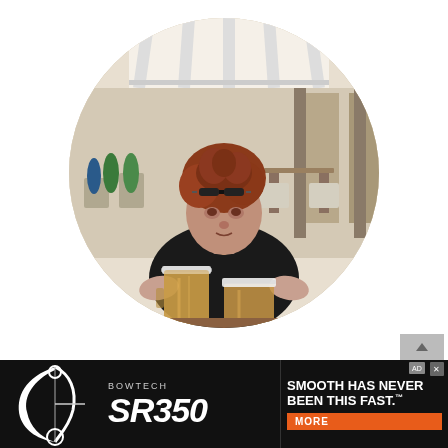[Figure (photo): Circular cropped photo of a young woman with curly red hair pulled up, wearing sunglasses on her head and a black t-shirt with a necklace, sitting at an outdoor cafe terrace with two large glasses of beer on the table in front of her. Background shows cafe chairs, tables, and an arcade/colonnade setting.]
[Figure (other): Advertisement banner for Bowtech SR350 bow. Black background with a bow graphic on the left, BOWTECH brand name, SR350 model name in large italic text, and slogan 'SMOOTH HAS NEVER BEEN THIS FAST.' with a MORE button on the right side. Small ad icons and scroll button visible above.]